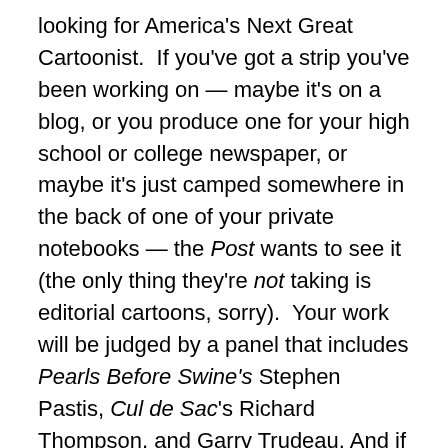looking for America's Next Great Cartoonist. If you've got a strip you've been working on — maybe it's on a blog, or you produce one for your high school or college newspaper, or maybe it's just camped somewhere in the back of one of your private notebooks — the Post wants to see it (the only thing they're not taking is editorial cartoons, sorry). Your work will be judged by a panel that includes Pearls Before Swine's Stephen Pastis, Cul de Sac's Richard Thompson, and Garry Trudeau. And if I really have to tell you who Garry Trudeau is, you have no business entering the contest. Just sayin'.
The winner gets to have his or her work appear for a month in the Post's comic section (that's the Style section to us locals), get to consult with the judges, and generally get a good push out the door and down the path toward a career as a professional comic strip artist.